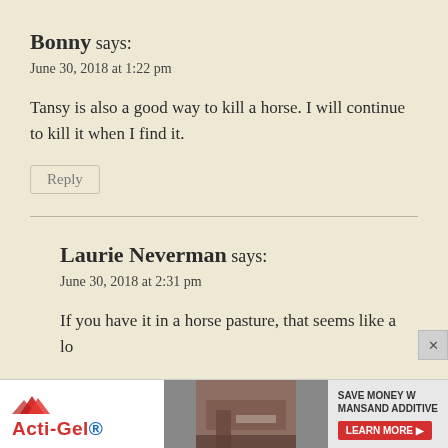Bonny says:
June 30, 2018 at 1:22 pm
Tansy is also a good way to kill a horse. I will continue to kill it when I find it.
Reply
Laurie Neverman says:
June 30, 2018 at 2:31 pm
If you have it in a horse pasture, that seems like a lo...
[Figure (other): Acti-Gel advertisement banner with mountains logo, construction image, and 'SAVE MONEY W MANSAND ADDITIVE LEARN MORE' button]